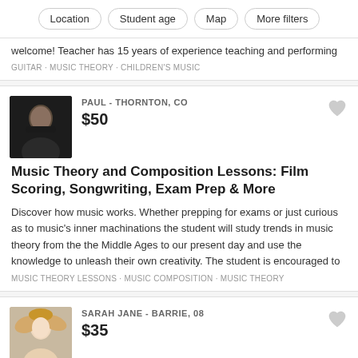Location | Student age | Map | More filters
welcome! Teacher has 15 years of experience teaching and performing
GUITAR · MUSIC THEORY · CHILDREN'S MUSIC
PAUL - THORNTON, CO
$50
Music Theory and Composition Lessons: Film Scoring, Songwriting, Exam Prep & More
Discover how music works. Whether prepping for exams or just curious as to music's inner machinations the student will study trends in music theory from the the Middle Ages to our present day and use the knowledge to unleash their own creativity. The student is encouraged to
MUSIC THEORY LESSONS · MUSIC COMPOSITION · MUSIC THEORY
SARAH JANE - BARRIE, 08
$35